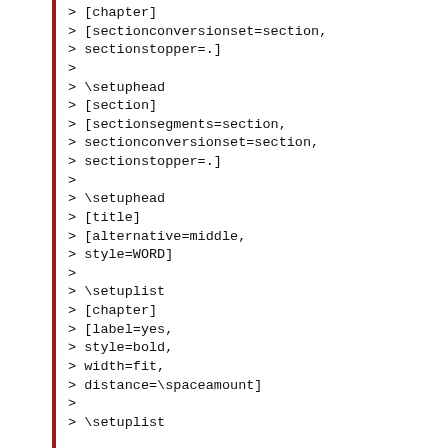> [chapter]
> [sectionconversionset=section,
> sectionstopper=.]
>
> \setuphead
> [section]
> [sectionsegments=section,
> sectionconversionset=section,
> sectionstopper=.]
>
> \setuphead
> [title]
> [alternative=middle,
> style=WORD]
>
> \setuplist
> [chapter]
> [label=yes,
> style=bold,
> width=fit,
> distance=\spaceamount]
>
> \setuplist